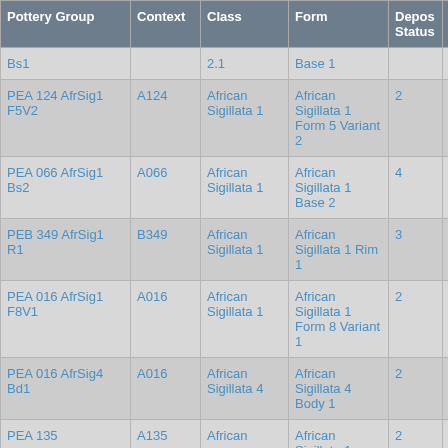| Pottery Group | Context | Class | Form | Depos Status | R Ct | R Ev |
| --- | --- | --- | --- | --- | --- | --- |
| Bs1 |  | 2.1 | Base 1 |  |  |  |
| PEA 124 AfrSig1 F5V2 | A124 | African Sigillata 1 | African Sigillata 1 Form 5 Variant 2 | 2 | 1 | 1 |
| PEA 066 AfrSig1 Bs2 | A066 | African Sigillata 1 | African Sigillata 1 Base 2 | 4 |  |  |
| PEB 349 AfrSig1 R1 | B349 | African Sigillata 1 | African Sigillata 1 Rim 1 | 3 | 4 |  |
| PEA 016 AfrSig1 F8V1 | A016 | African Sigillata 1 | African Sigillata 1 Form 8 Variant 1 | 2 | 1 | 1 |
| PEA 016 AfrSig4 Bd1 | A016 | African Sigillata 4 | African Sigillata 4 Body 1 | 2 |  |  |
| PEA 135 ... | A135 | African | African Sigillata 1 ... | 2 | 5 | 5 |